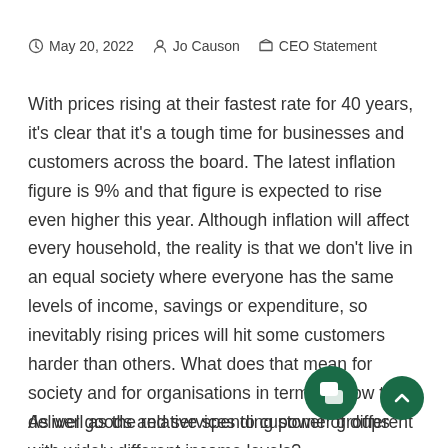May 20, 2022   Jo Causon   CEO Statement
With prices rising at their fastest rate for 40 years, it's clear that it's a tough time for businesses and customers across the board. The latest inflation figure is 9% and that figure is expected to rise even higher this year. Although inflation will affect every household, the reality is that we don't live in an equal society where everyone has the same levels of income, savings or expenditure, so inevitably rising prices will hit some customers harder than others. What does that mean for society and for organisations in terms of how they deliver goods and services to customer groups with widely different income levels?
As well as the relative spending power of different